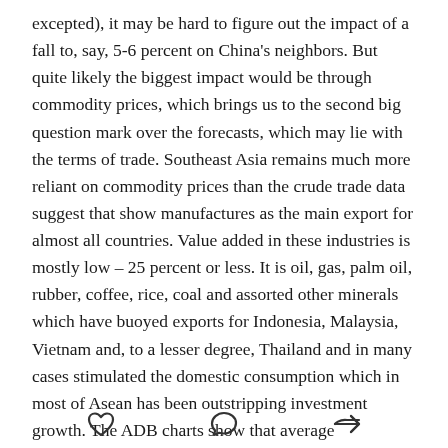excepted), it may be hard to figure out the impact of a fall to, say, 5-6 percent on China's neighbors. But quite likely the biggest impact would be through commodity prices, which brings us to the second big question mark over the forecasts, which may lie with the terms of trade. Southeast Asia remains much more reliant on commodity prices than the crude trade data suggest that show manufactures as the main export for almost all countries. Value added in these industries is mostly low – 25 percent or less. It is oil, gas, palm oil, rubber, coffee, rice, coal and assorted other minerals which have buoyed exports for Indonesia, Malaysia, Vietnam and, to a lesser degree, Thailand and in many cases stimulated the domestic consumption which in most of Asean has been outstripping investment growth. The ADB charts show that average commodity prices are 63
[Figure (other): Three social sharing icons at the bottom: a heart (like), a speech bubble (comment), and a share/forward arrow.]